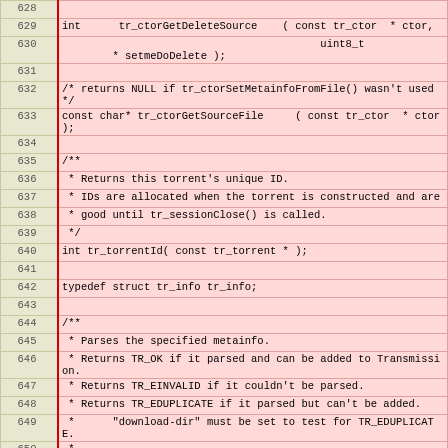[Figure (screenshot): Source code listing showing C function declarations and comments, line numbers 628-652, with pink/red background for code area and beige background for line numbers.]